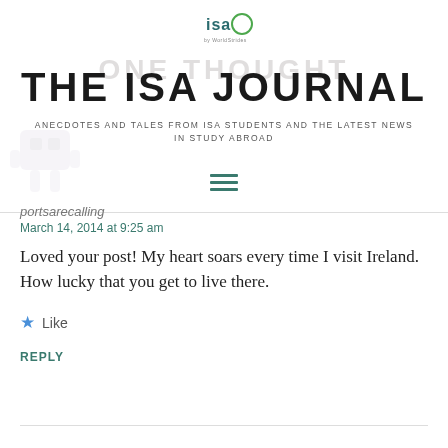[Figure (logo): ISA logo with circle and 'by WorldStrides' text]
THE ISA JOURNAL
ANECDOTES AND TALES FROM ISA STUDENTS AND THE LATEST NEWS IN STUDY ABROAD
[Figure (other): Hamburger menu icon (three horizontal lines)]
portsarecalling
March 14, 2014 at 9:25 am
Loved your post! My heart soars every time I visit Ireland. How lucky that you get to live there.
Like
REPLY